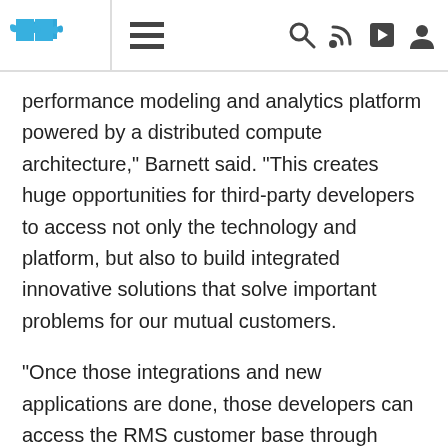Navigation bar with puzzle logo, menu icon, search, RSS, share, and user icons
performance modeling and analytics platform powered by a distributed compute architecture," Barnett said. "This creates huge opportunities for third-party developers to access not only the technology and platform, but also to build integrated innovative solutions that solve important problems for our mutual customers.
"Once those integrations and new applications are done, those developers can access the RMS customer base through marketing and sales programs that take advantage of the close relationships and partnerships RMS has with a